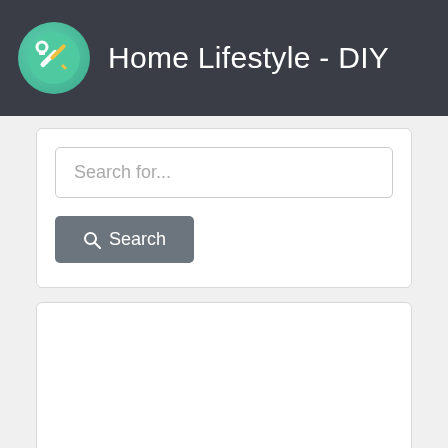Home Lifestyle - DIY
[Figure (screenshot): Search bar with placeholder text 'Search for...' and a Search button below it, inside a white card]
[Figure (other): Empty white card/content area]